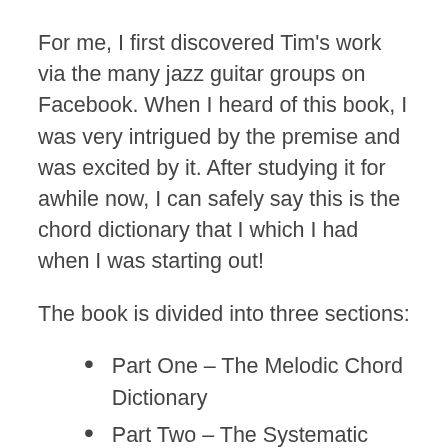For me, I first discovered Tim's work via the many jazz guitar groups on Facebook. When I heard of this book, I was very intrigued by the premise and was excited by it. After studying it for awhile now, I can safely say this is the chord dictionary that I which I had when I was starting out!
The book is divided into three sections:
Part One – The Melodic Chord Dictionary
Part Two – The Systematic Chord Dictionary
Part Three – Chord-Melody Notation
The Melodic Chord Dictionary part is very practical as Tim organizes the voicing by top note and by six